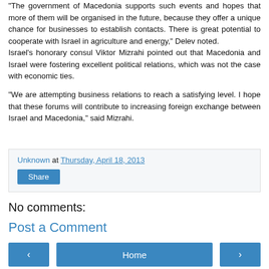"The government of Macedonia supports such events and hopes that more of them will be organised in the future, because they offer a unique chance for businesses to establish contacts. There is great potential to cooperate with Israel in agriculture and energy," Delev noted.
Israel's honorary consul Viktor Mizrahi pointed out that Macedonia and Israel were fostering excellent political relations, which was not the case with economic ties.
"We are attempting business relations to reach a satisfying level. I hope that these forums will contribute to increasing foreign exchange between Israel and Macedonia," said Mizrahi.
Unknown at Thursday, April 18, 2013
Share
No comments:
Post a Comment
‹  Home  ›